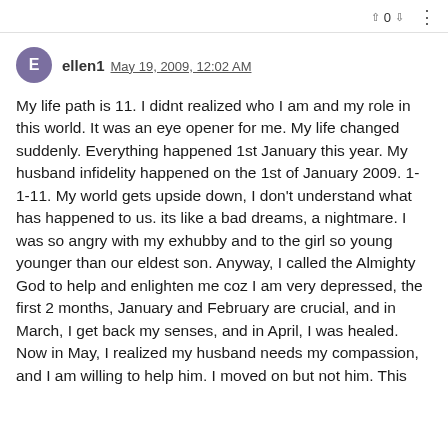▲ 0 ▼  ⋮
ellen1  May 19, 2009, 12:02 AM

My life path is 11. I didnt realized who I am and my role in this world. It was an eye opener for me. My life changed suddenly. Everything happened 1st January this year. My husband infidelity happened on the 1st of January 2009. 1-1-11. My world gets upside down, I don't understand what has happened to us. its like a bad dreams, a nightmare. I was so angry with my exhubby and to the girl so young younger than our eldest son. Anyway, I called the Almighty God to help and enlighten me coz I am very depressed, the first 2 months, January and February are crucial, and in March, I get back my senses, and in April, I was healed. Now in May, I realized my husband needs my compassion, and I am willing to help him. I moved on but not him. This